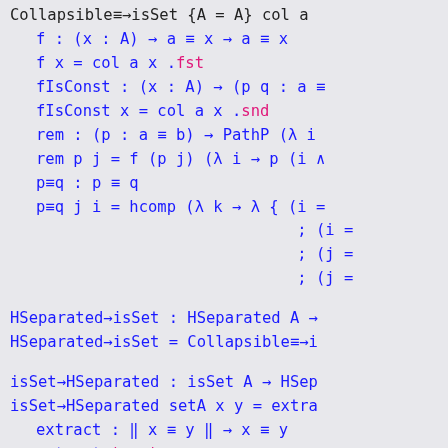Collapsible≡→isSet {A = A} col a
f : (x : A) → a ≡ x → a ≡ x
f x = col a x .fst
fIsConst : (x : A) → (p q : a ≡
fIsConst x = col a x .snd
rem : (p : a ≡ b) → PathP (λ i
rem p j = f (p j) (λ i → p (i ∧
p≡q : p ≡ q
p≡q j i = hcomp (λ k → λ { (i =
; (i =
; (j =
; (j =
HSeparated→isSet : HSeparated A →
HSeparated→isSet = Collapsible≡→i
isSet→HSeparated : isSet A → HSep
isSet→HSeparated setA x y = extra
extract : ‖ x ≡ y ‖ → x ≡ y
extract | p | = p
extract (squash p q i) = setA x